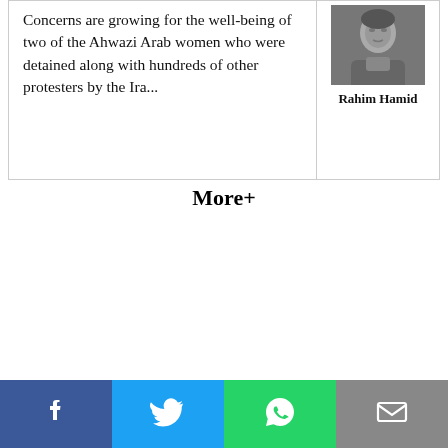Concerns are growing for the well-being of two of the Ahwazi Arab women who were detained along with hundreds of other protesters by the Ira...
[Figure (photo): Grayscale portrait photo of a person]
Rahim Hamid
More+
[Figure (infographic): Social sharing bar with Facebook, Twitter, WhatsApp, and Email buttons]